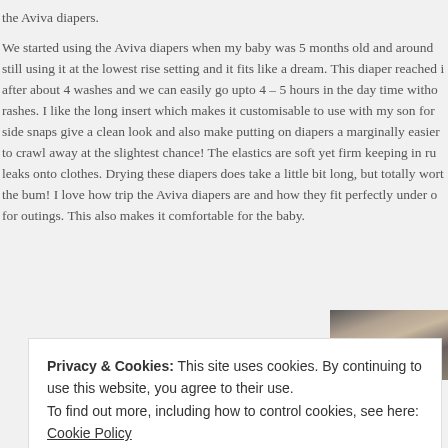the Aviva diapers.
We started using the Aviva diapers when my baby was 5 months old and around still using it at the lowest rise setting and it fits like a dream. This diaper reached i after about 4 washes and we can easily go upto 4 – 5 hours in the day time witho rashes. I like the long insert which makes it customisable to use with my son for side snaps give a clean look and also make putting on diapers a marginally easier to crawl away at the slightest chance! The elastics are soft yet firm keeping in ru leaks onto clothes. Drying these diapers does take a little bit long, but totally wort the bum! I love how trip the Aviva diapers are and how they fit perfectly under o for outings. This also makes it comfortable for the baby.
[Figure (photo): Partial photo strip showing dark background with a baby's head visible]
Privacy & Cookies: This site uses cookies. By continuing to use this website, you agree to their use.
To find out more, including how to control cookies, see here: Cookie Policy
Close and accept